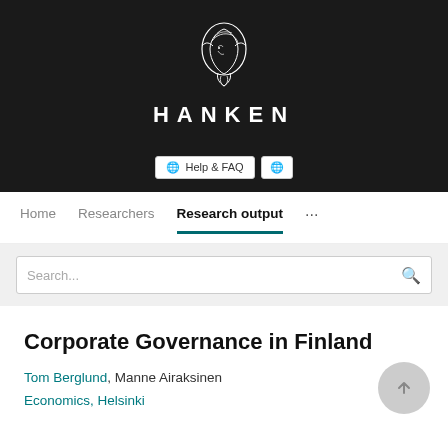[Figure (logo): Hanken School of Economics logo — white line art figure on black background with the word HANKEN in white spaced capitals]
Help & FAQ  [globe icon]
Home   Researchers   Research output   ...
Search...
Corporate Governance in Finland
Tom Berglund, Manne Airaksinen
Economics, Helsinki